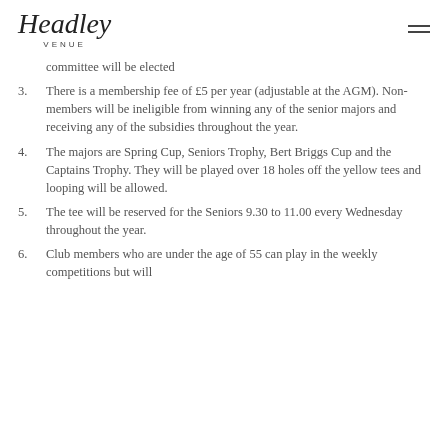Headley Venue
committee will be elected
3. There is a membership fee of £5 per year (adjustable at the AGM). Non-members will be ineligible from winning any of the senior majors and receiving any of the subsidies throughout the year.
4. The majors are Spring Cup, Seniors Trophy, Bert Briggs Cup and the Captains Trophy. They will be played over 18 holes off the yellow tees and looping will be allowed.
5. The tee will be reserved for the Seniors 9.30 to 11.00 every Wednesday throughout the year.
6. Club members who are under the age of 55 can play in the weekly competitions but will